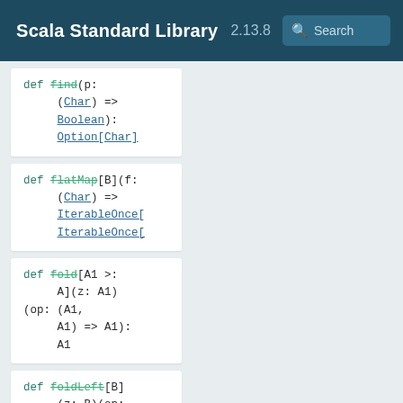Scala Standard Library 2.13.8
def find(p: (Char) => Boolean): Option[Char]
def flatMap[B](f: (Char) => IterableOnce[IterableOnce[
def fold[A1 >: A](z: A1)(op: (A1, A1) => A1): A1
def foldLeft[B](z: B)(op: (B, Char) => B): B
def foldRight[B](z: B)(op: (Char,